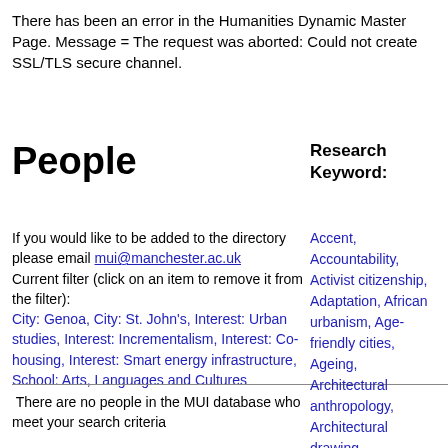There has been an error in the Humanities Dynamic Master Page. Message = The request was aborted: Could not create SSL/TLS secure channel.
People
Research Keyword:
If you would like to be added to the directory please email mui@manchester.ac.uk
Current filter (click on an item to remove it from the filter):
City: Genoa, City: St. John's, Interest: Urban studies, Interest: Incrementalism, Interest: Co-housing, Interest: Smart energy infrastructure, School: Arts, Languages and Cultures
Accent, Accountability, Activist citizenship, Adaptation, African urbanism, Age-friendly cities, Ageing, Architectural anthropology, Architectural drawing, Architectural ethnography, Architecture, Art, Aspiration, Atmosphere, Austerity,
There are no people in the MUI database who meet your search criteria